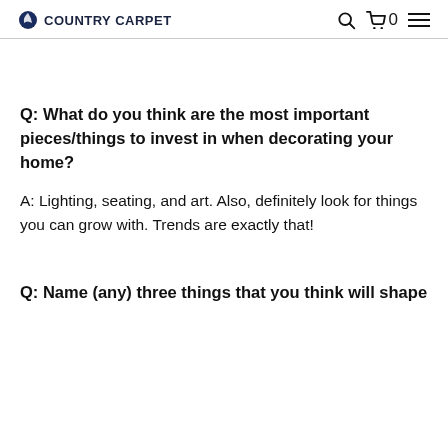COUNTRY CARPET
Q: What do you think are the most important pieces/things to invest in when decorating your home?
A: Lighting, seating, and art. Also, definitely look for things you can grow with. Trends are exactly that!
Q: Name (any) three things that you think will shape